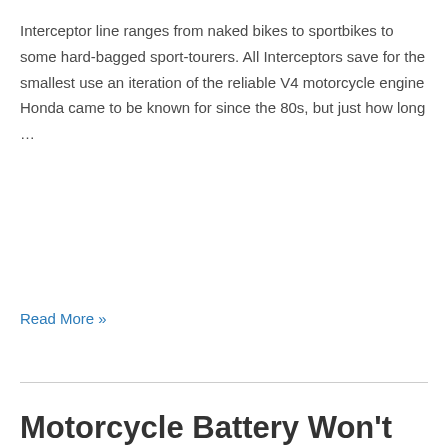Interceptor line ranges from naked bikes to sportbikes to some hard-bagged sport-tourers. All Interceptors save for the smallest use an iteration of the reliable V4 motorcycle engine Honda came to be known for since the 80s, but just how long …
Read More »
Motorcycle Battery Won't Charge While Riding: 11 Reasons (Solved)